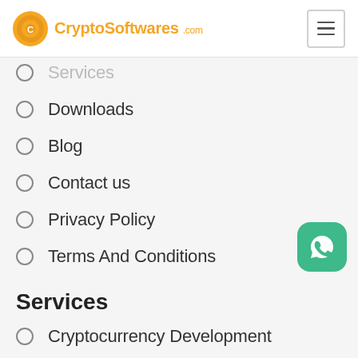CryptoSoftwares.com
Services
Downloads
Blog
Contact us
Privacy Policy
Terms And Conditions
Services
Cryptocurrency Development
Blockchain Application Development
Hyperledger Application Development